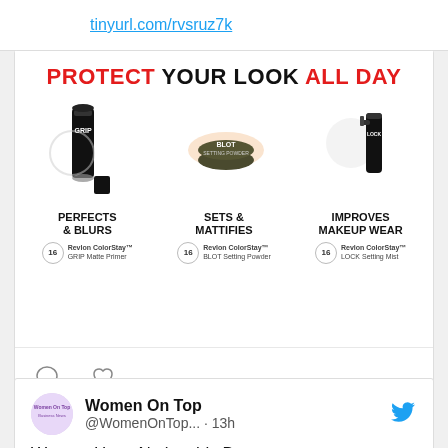tinyurl.com/rvsruz7k
[Figure (infographic): Revlon ColorStay advertisement showing three products: GRIP Matte Primer (Perfects & Blurs), BLOT Setting Powder (Sets & Mattifies), LOCK Setting Mist (Improves Makeup Wear). Headline: PROTECT YOUR LOOK ALL DAY. Each product has a 16-hour badge.]
[Figure (infographic): Social media action icons: comment bubble and heart/like button]
Women On Top
@WomenOnTop... · 13h
Women Have Noticeably Better